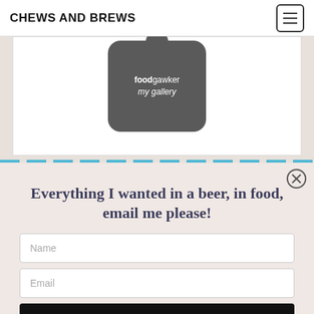CHEWS AND BREWS
[Figure (logo): Foodgawker 'my gallery' badge — dark rounded square with a small tab at top, white bold text reading 'foodgawker' and italic 'my gallery']
Everything I wanted in a beer, in food, email me please!
Name
Email
Subscribe